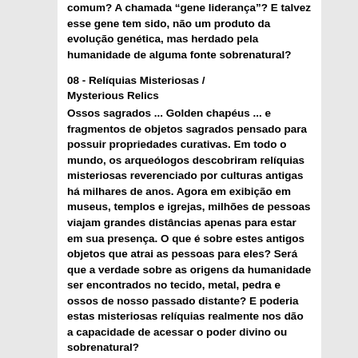comum? A chamada "gene liderança"? E talvez esse gene tem sido, não um produto da evolução genética, mas herdado pela humanidade de alguma fonte sobrenatural?
08 - Relíquias Misteriosas / Mysterious Relics
Ossos sagrados ... Golden chapéus ... e fragmentos de objetos sagrados pensado para possuir propriedades curativas. Em todo o mundo, os arqueólogos descobriram relíquias misteriosas reverenciado por culturas antigas há milhares de anos. Agora em exibição em museus, templos e igrejas, milhões de pessoas viajam grandes distâncias apenas para estar em sua presença. O que é sobre estes antigos objetos que atrai as pessoas para eles? Será que a verdade sobre as origens da humanidade ser encontrados no tecido, metal, pedra e ossos de nosso passado distante? E poderia estas misteriosas relíquias realmente nos dão a capacidade de acessar o poder divino ou sobrenatural?
GENERAL SUBJECTS ON THE ALIEN-ADENGA, UFOS AND HIGHER